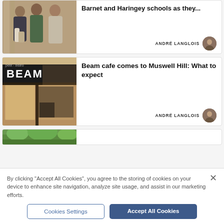Barnet and Haringey schools as they...
ANDRÉ LANGLOIS
Beam cafe comes to Muswell Hill: What to expect
ANDRÉ LANGLOIS
[Figure (photo): Three women posing together outdoors in front of a brick building]
[Figure (photo): Beam cafe storefront with large BEAM sign on dark fascia]
[Figure (photo): Partial outdoor scene with trees visible]
By clicking "Accept All Cookies", you agree to the storing of cookies on your device to enhance site navigation, analyze site usage, and assist in our marketing efforts.
Cookies Settings
Accept All Cookies